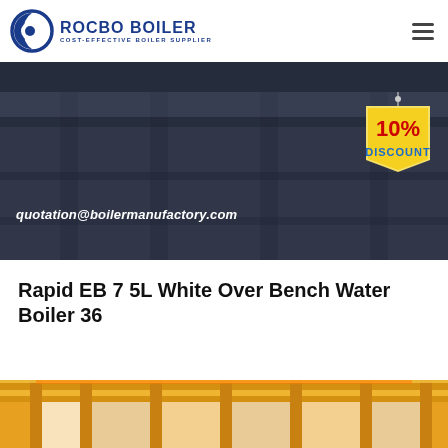[Figure (logo): Rocbo Boiler logo with circular C icon and text 'ROCBO BOILER' and subtitle 'COST-EFFECTIVE BOILER SUPPLIER']
[Figure (photo): Dark industrial boiler facility background banner with email address 'quotation@boilermanufactory.com' and a 10% discount badge hanging from top right]
Rapid EB 7 5L White Over Bench Water Boiler 36
[Figure (photo): Bottom portion of a yellow/orange industrial boiler or crane structure, partially visible at page bottom]